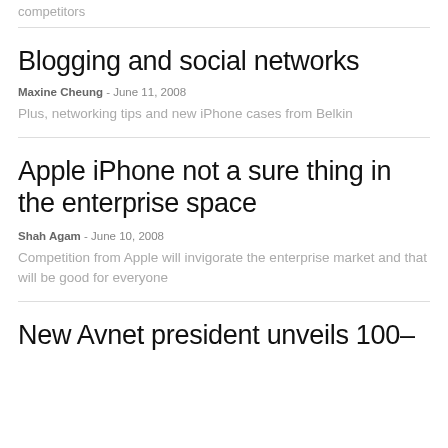competitors
Blogging and social networks
Maxine Cheung - June 11, 2008
Plus, networking tips and new iPhone cases from Belkin
Apple iPhone not a sure thing in the enterprise space
Shah Agam - June 10, 2008
Competition from Apple will invigorate the enterprise market and that will be good for everyone
New Avnet president unveils 100–